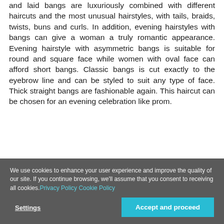and laid bangs are luxuriously combined with different haircuts and the most unusual hairstyles, with tails, braids, twists, buns and curls. In addition, evening hairstyles with bangs can give a woman a truly romantic appearance. Evening hairstyle with asymmetric bangs is suitable for round and square face while women with oval face can afford short bangs. Classic bangs is cut exactly to the eyebrow line and can be styled to suit any type of face. Thick straight bangs are fashionable again. This haircut can be chosen for an evening celebration like prom.
We use cookies to enhance your user experience and improve the quality of our site. If you continue browsing, we'll assume that you consent to receiving all cookies. Privacy Policy Cookie Policy
Settings
Accept and proceed